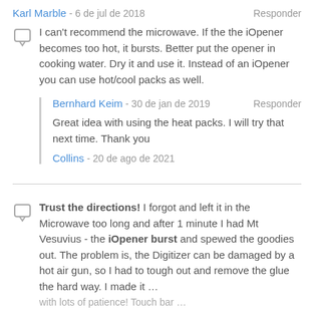Karl Marble - 6 de jul de 2018   Responder
I can't recommend the microwave. If the the iOpener becomes too hot, it bursts. Better put the opener in cooking water. Dry it and use it. Instead of an iOpener you can use hot/cool packs as well.
Bernhard Keim - 30 de jan de 2019   Responder
Great idea with using the heat packs. I will try that next time. Thank you
Collins - 20 de ago de 2021
Trust the directions! I forgot and left it in the Microwave too long and after 1 minute I had Mt Vesuvius - the iOpener burst and spewed the goodies out. The problem is, the Digitizer can be damaged by a hot air gun, so I had to tough out and remove the glue the hard way. I made it … with lots of patience! Touch bar …